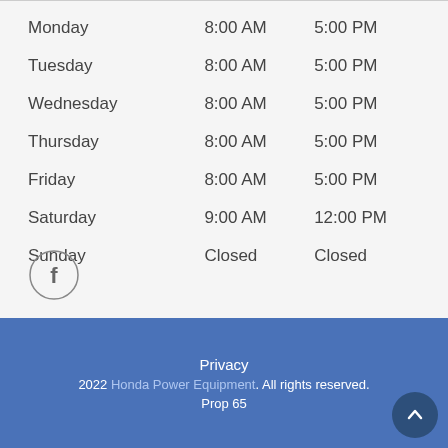| Day | Open | Close |
| --- | --- | --- |
| Monday | 8:00 AM | 5:00 PM |
| Tuesday | 8:00 AM | 5:00 PM |
| Wednesday | 8:00 AM | 5:00 PM |
| Thursday | 8:00 AM | 5:00 PM |
| Friday | 8:00 AM | 5:00 PM |
| Saturday | 9:00 AM | 12:00 PM |
| Sunday | Closed | Closed |
[Figure (logo): Facebook icon — circle with letter f]
Privacy
2022 Honda Power Equipment. All rights reserved.
Prop 65